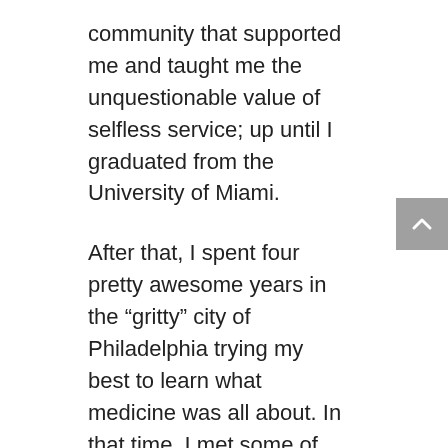community that supported me and taught me the unquestionable value of selfless service; up until I graduated from the University of Miami.
After that, I spent four pretty awesome years in the “gritty” city of Philadelphia trying my best to learn what medicine was all about. In that time, I met some of my best friends in the world and also almost accidentally helped burn the city down after we won the Super Bowl.
Now, I’m excited to start my career as an Emergency Medicine doctor at the University of Chicago! I am set on diving